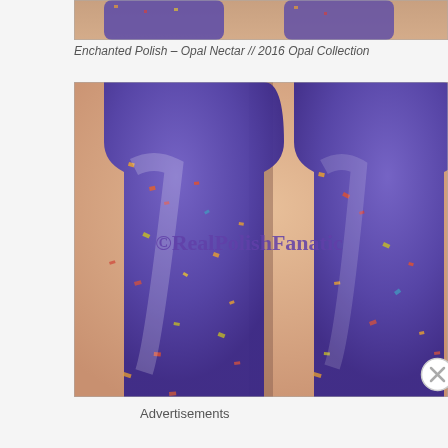[Figure (photo): Top partial strip of a photo showing nail polish swatch with purple glitter]
Enchanted Polish – Opal Nectar // 2016 Opal Collection
[Figure (photo): Close-up photo of two fingernails painted with purple glitter nail polish (Enchanted Polish Opal Nectar from 2016 Opal Collection), watermarked with ©RealPolishFanatic in purple text]
Advertisements